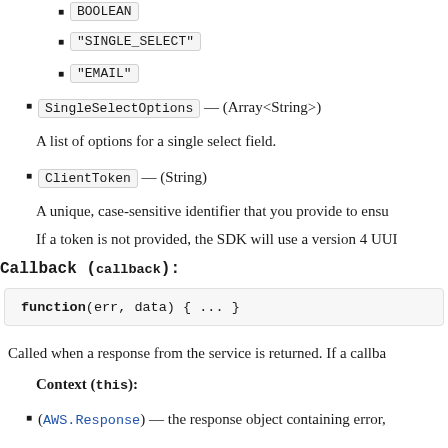BOOLEAN
"SINGLE_SELECT"
"EMAIL"
SingleSelectOptions — (Array<String>)
A list of options for a single select field.
ClientToken — (String)
A unique, case-sensitive identifier that you provide to ensu
If a token is not provided, the SDK will use a version 4 UUI
Callback (callback):
[Figure (screenshot): Code block showing: function(err, data) { ... }]
Called when a response from the service is returned. If a callba
Context (this):
(AWS.Response) — the response object containing error,